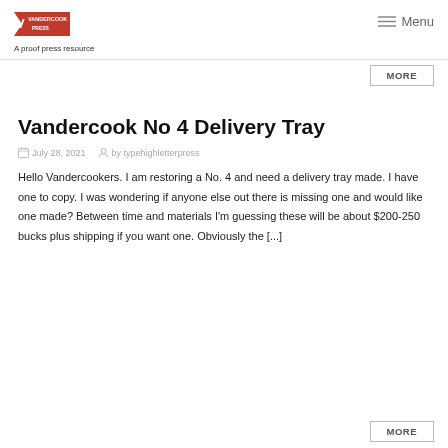[Figure (logo): Vandercook Press logo — red pennant shape with white text]
A proof press resource
Menu
MORE
Vandercook No 4 Delivery Tray
July 28, 2021   by typehighletterpress
Hello Vandercookers. I am restoring a No. 4 and need a delivery tray made. I have one to copy. I was wondering if anyone else out there is missing one and would like one made? Between time and materials I'm guessing these will be about $200-250 bucks plus shipping if you want one. Obviously the [...]
MORE